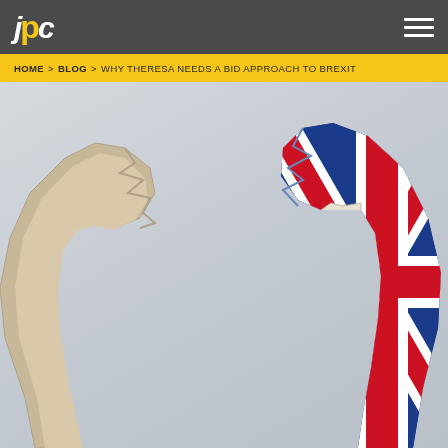JPC
HOME > BLOG > WHY THERESA NEEDS A BID APPROACH TO BREXIT
[Figure (photo): Two halves of a broken egg shell, the right half decorated with the Union Jack (UK flag pattern in red, white, and blue), set against a light grey background. Symbolizing Brexit — the breaking apart of the United Kingdom from Europe.]